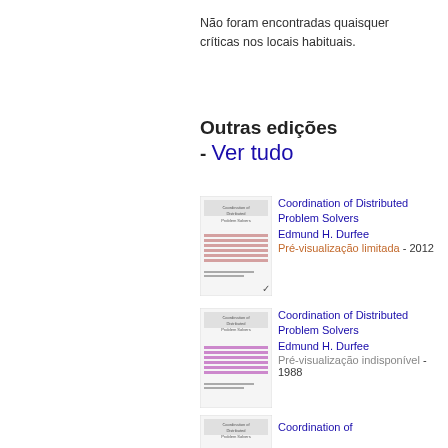Não foram encontradas quaisquer críticas nos locais habituais.
Outras edições - Ver tudo
[Figure (illustration): Book cover thumbnail for Coordination of Distributed Problem Solvers, 2012 edition]
Coordination of Distributed Problem Solvers Edmund H. Durfee Pré-visualização limitada - 2012
[Figure (illustration): Book cover thumbnail for Coordination of Distributed Problem Solvers, 1988 edition]
Coordination of Distributed Problem Solvers Edmund H. Durfee Pré-visualização indisponível - 1988
[Figure (illustration): Book cover thumbnail for Coordination of third edition]
Coordination of